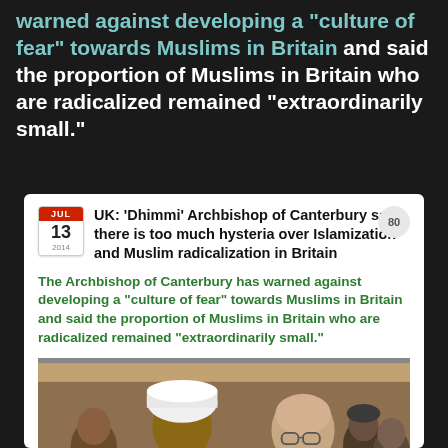warned against developing a "culture of fear" towards Muslims in Britain and said the proportion of Muslims in Britain who are radicalized remained "extraordinarily small."
UK: 'Dhimmi' Archbishop of Canterbury says there is too much hysteria over Islamization and Muslim radicalization in Britain
The Archbishop of Canterbury has warned against developing a "culture of fear" towards Muslims in Britain and said the proportion of Muslims in Britain who are radicalized remained "extraordinarily small."
[Figure (photo): Group photo showing a man in white turban and dark clothing on the left, and an older bald man in clerical collar on the right, with other people in background in front of a brick building.]